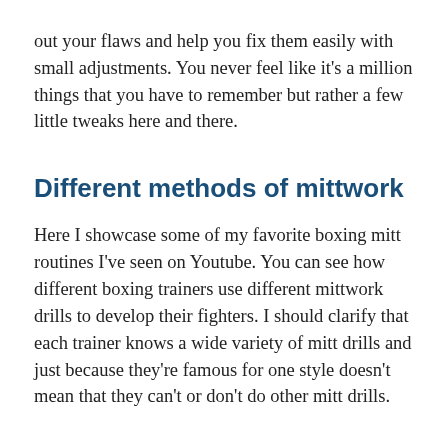out your flaws and help you fix them easily with small adjustments. You never feel like it's a million things that you have to remember but rather a few little tweaks here and there.
Different methods of mittwork
Here I showcase some of my favorite boxing mitt routines I've seen on Youtube. You can see how different boxing trainers use different mittwork drills to develop their fighters. I should clarify that each trainer knows a wide variety of mitt drills and just because they're famous for one style doesn't mean that they can't or don't do other mitt drills.